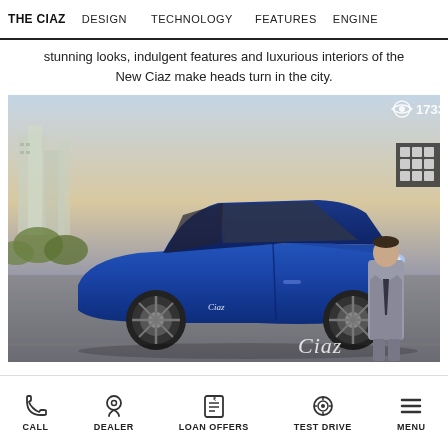THE CIAZ   DESIGN   TECHNOLOGY   FEATURES   ENGINE
stunning looks, indulgent features and luxurious interiors of the New Ciaz make heads turn in the city.
[Figure (photo): Maruti Suzuki Ciaz sedan in blue color parked on a road with city buildings in background. A man in grey suit stands to the right side. View count overlay shows 17337. Grid icon in top right corner. Ciaz script logo at bottom right.]
CALL   DEALER   LOAN OFFERS   TEST DRIVE   MENU